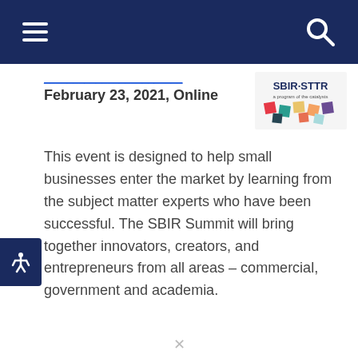Navigation bar with hamburger menu and search icon
February 23, 2021, Online
[Figure (logo): SBIR STTR logo with colorful geometric shapes and text 'SBIR·STTR a program of the catalysts']
This event is designed to help small businesses enter the market by learning from the subject matter experts who have been successful. The SBIR Summit will bring together innovators, creators, and entrepreneurs from all areas – commercial, government and academia.
WEBINAR: Email Marketing Basics: Automating and
[Figure (logo): ZOHO logo with colorful letter blocks in red, green, yellow and orange]